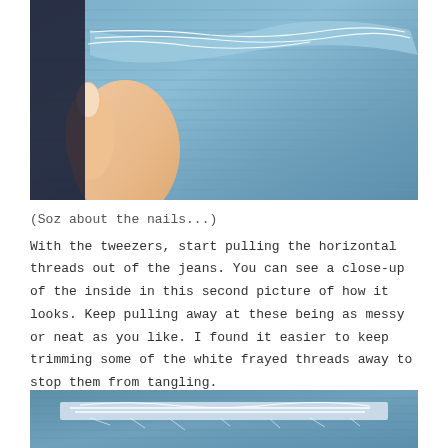[Figure (photo): Close-up photo of a hand holding denim fabric, showing the inside of jeans with white horizontal threads being pulled out, demonstrating a fraying/distressing technique.]
(Soz about the nails...)
With the tweezers, start pulling the horizontal threads out of the jeans. You can see a close-up of the inside in this second picture of how it looks. Keep pulling away at these being as messy or neat as you like. I found it easier to keep trimming some of the white frayed threads away to stop them from tangling.
[Figure (photo): Close-up photo of denim fabric from the inside, showing white frayed horizontal threads after being pulled out, with the denim weave visible.]